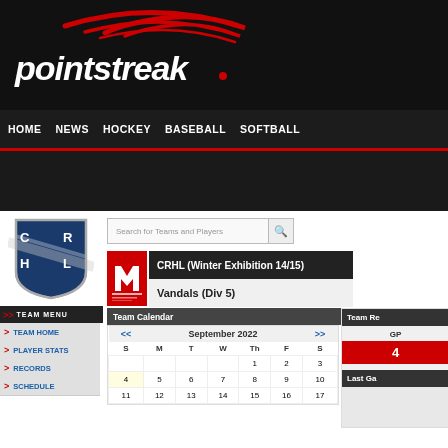[Figure (logo): Pointstreak logo with red swoosh on black background]
HOME  NEWS  HOCKEY  BASEBALL  SOFTBALL
[Figure (logo): CRHL shield logo in blue and white]
Search for Teams and Players
CRHL (Winter Exhibition 14/15)
Vandals (Div 5)
Team Calendar
Team Re
GP
4
Last Ga
| S | M | T | W | Th | F | S |
| --- | --- | --- | --- | --- | --- | --- |
|  |  |  |  | 1 | 2 | 3 |
| 4 | 5 | 6 | 7 | 8 | 9 | 10 |
| 11 | 12 | 13 | 14 | 15 | 16 | 17 |
> TEAM HOME
> PLAYER STATS
> RECORDS
> SCHEDULE